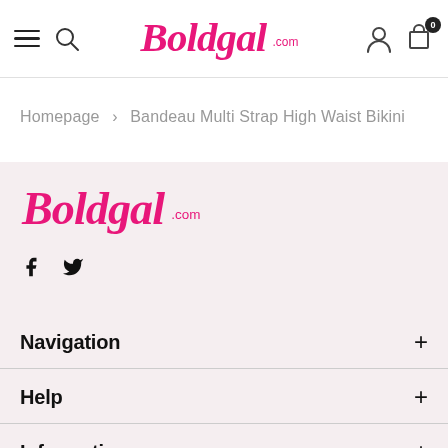Boldgal.com — Navigation header with hamburger menu, search, logo, user icon, and cart (0)
Homepage > Bandeau Multi Strap High Waist Bikini
[Figure (logo): Boldgal.com logo in pink script font]
f  (twitter bird icon)
Navigation +
Help +
Information +